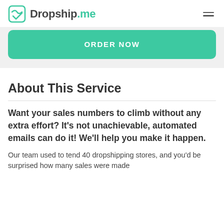Dropship.me
ORDER NOW
About This Service
Want your sales numbers to climb without any extra effort? It’s not unachievable, automated emails can do it! We’ll help you make it happen.
Our team used to tend 40 dropshipping stores, and you’d be surprised how many sales were made